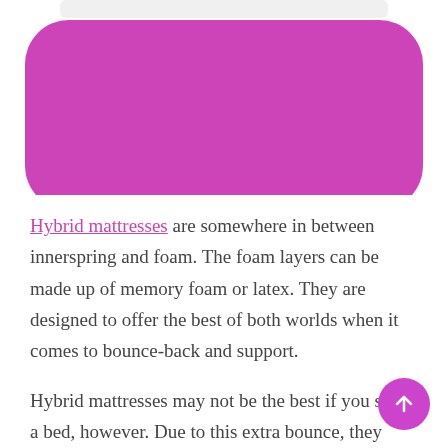[Figure (illustration): Pink/magenta rounded rectangle shape at top of page, partially cropped, with a white rectangular element visible at the very top]
Hybrid mattresses are somewhere in between innerspring and foam. The foam layers can be made up of memory foam or latex. They are designed to offer the best of both worlds when it comes to bounce-back and support.
Hybrid mattresses may not be the best if you share a bed, however. Due to this extra bounce, they aren't great at motion isolation, and you might feel more movement throughout the night. Hybrids too are of the pricier options on the market.